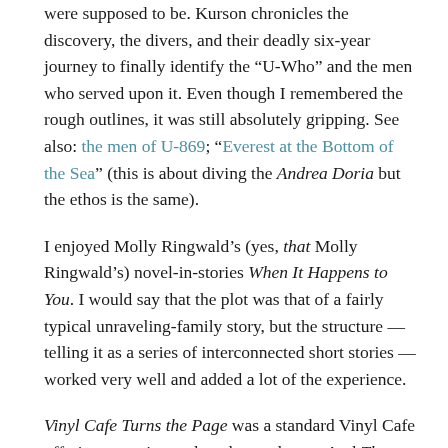were supposed to be. Kurson chronicles the discovery, the divers, and their deadly six-year journey to finally identify the “U-Who” and the men who served upon it. Even though I remembered the rough outlines, it was still absolutely gripping. See also: the men of U-869; “Everest at the Bottom of the Sea” (this is about diving the Andrea Doria but the ethos is the same).
I enjoyed Molly Ringwald’s (yes, that Molly Ringwald’s) novel-in-stories When It Happens to You. I would say that the plot was that of a fairly typical unraveling-family story, but the structure — telling it as a series of interconnected short stories — worked very well and added a lot of the experience.
Vinyl Cafe Turns the Page was a standard Vinyl Cafe offering: amusing and tender as always. And Three Men in a Boat remains a perpetual re-read, and one of the funniest books I